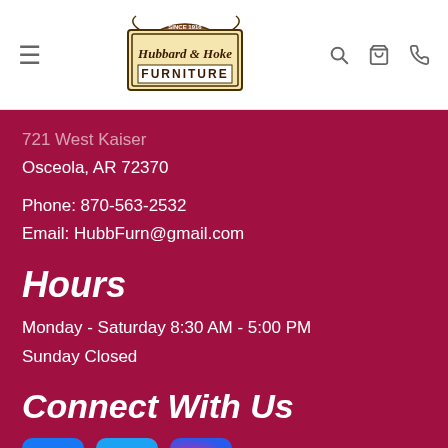Hubbard & Hoke Furniture
721 West Kaiser
Osceola, AR 72370
Phone: 870-563-2532
Email: HubbFurn@gmail.com
Hours
Monday - Saturday 8:30 AM - 5:00 PM
Sunday Closed
Connect With Us
[Figure (logo): Facebook, Twitter, and Instagram social media icons]